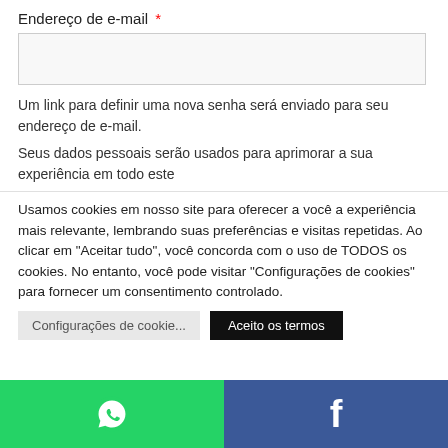Endereço de e-mail *
Um link para definir uma nova senha será enviado para seu endereço de e-mail.
Seus dados pessoais serão usados para aprimorar a sua experiência em todo este
Usamos cookies em nosso site para oferecer a você a experiência mais relevante, lembrando suas preferências e visitas repetidas. Ao clicar em "Aceitar tudo", você concorda com o uso de TODOS os cookies. No entanto, você pode visitar "Configurações de cookies" para fornecer um consentimento controlado.
Configurações de cookie
Aceito os termos